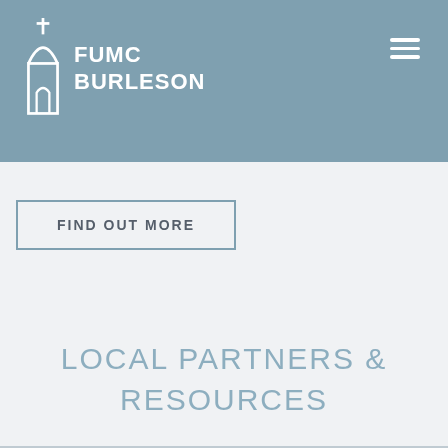FUMC BURLESON
FIND OUT MORE
LOCAL PARTNERS & RESOURCES